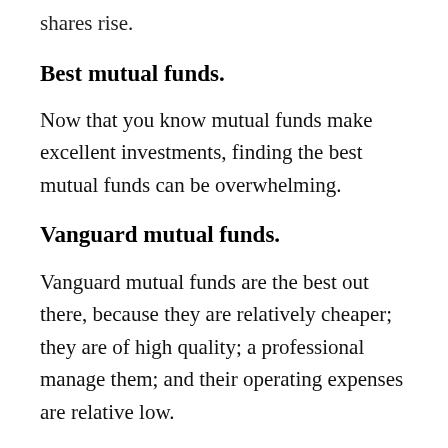shares rise.
Best mutual funds.
Now that you know mutual funds make excellent investments, finding the best mutual funds can be overwhelming.
Vanguard mutual funds.
Vanguard mutual funds are the best out there, because they are relatively cheaper; they are of high quality; a professional manage them; and their operating expenses are relative low.
Here is a list of the best Vanguard mutual funds that you should invest in:
Vanguard Total Stock Market Index Fund